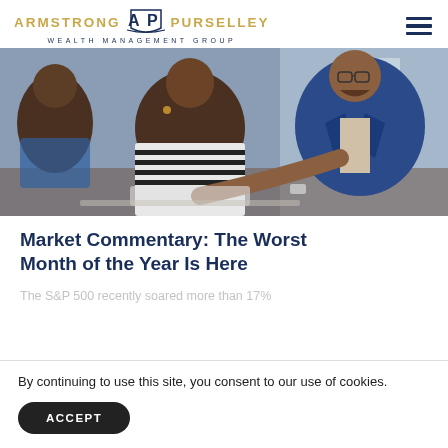ARMSTRONG AP PURSELLEY WEALTH MANAGEMENT GROUP
[Figure (photo): Three people in a meeting: two sitting clients (a man and a woman) and a financial advisor in a blue suit pointing at a laptop, in an office/cafe setting.]
Market Commentary: The Worst Month of the Year Is Here
The S&P 500 recently soared more than 17%
By continuing to use this site, you consent to our use of cookies.
ACCEPT